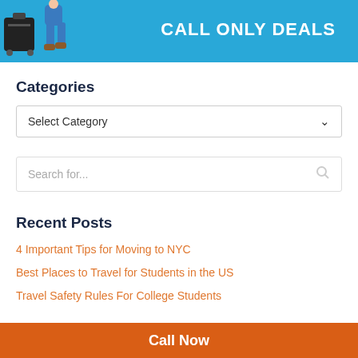[Figure (illustration): Travel banner with person pulling luggage on blue background with text CALL ONLY DEALS]
Categories
Select Category
Search for...
Recent Posts
4 Important Tips for Moving to NYC
Best Places to Travel for Students in the US
Travel Safety Rules For College Students
Call Now